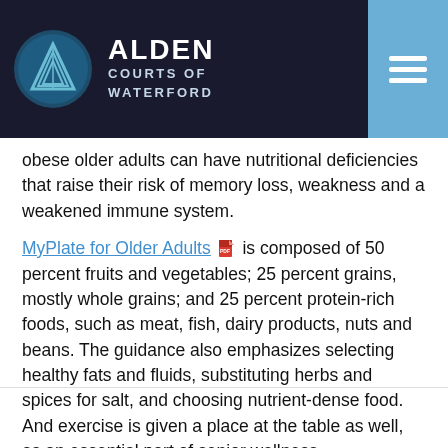ALDEN COURTS OF WATERFORD
obese older adults can have nutritional deficiencies that raise their risk of memory loss, weakness and a weakened immune system.
MyPlate for Older Adults is composed of 50 percent fruits and vegetables; 25 percent grains, mostly whole grains; and 25 percent protein-rich foods, such as meat, fish, dairy products, nuts and beans. The guidance also emphasizes selecting healthy fats and fluids, substituting herbs and spices for salt, and choosing nutrient-dense food. And exercise is given a place at the table as well, as an essential part of senior wellness.